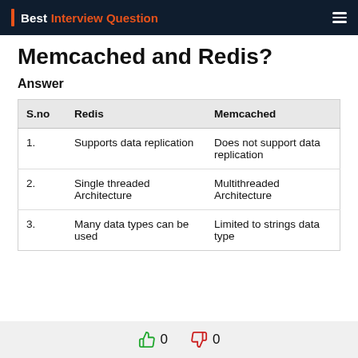Best Interview Question
Memcached and Redis?
Answer
| S.no | Redis | Memcached |
| --- | --- | --- |
| 1. | Supports data replication | Does not support data replication |
| 2. | Single threaded Architecture | Multithreaded Architecture |
| 3. | Many data types can be used | Limited to strings data type |
👍 0   👎 0